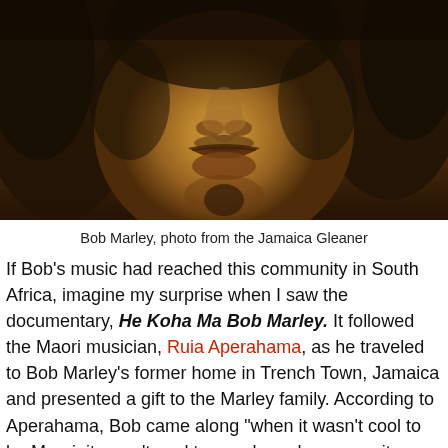[Figure (photo): Close-up sepia-toned photograph of Bob Marley's face showing his nose, mouth, chin and dreadlocks, from the Jamaica Gleaner]
Bob Marley, photo from the Jamaica Gleaner
If Bob's music had reached this community in South Africa, imagine my surprise when I saw the documentary, He Koha Ma Bob Marley. It followed the Maori musician, Ruia Aperahama, as he traveled to Bob Marley's former home in Trench Town, Jamaica and presented a gift to the Marley family. According to Aperahama, Bob came along "when it wasn't cool to be Maori, it wasn't cool to speak our language, it wasn't cool to be ourselves." His music gave them hope and helped them see themselves. Talk about reach and impact.